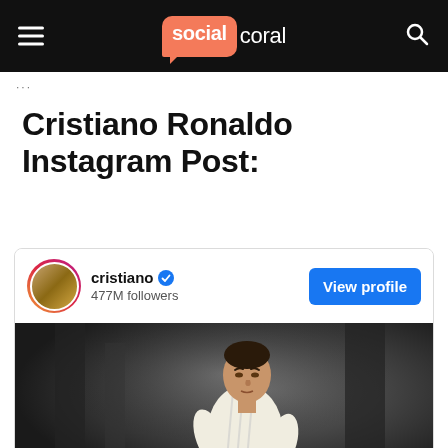social coral
Cristiano Ronaldo Instagram Post:
[Figure (screenshot): Instagram profile card for @cristiano showing 477M followers with a View profile button, and a photo of Cristiano Ronaldo wearing a Real Madrid white Fly Emirates kit with Adidas stripes, appearing to control a football.]